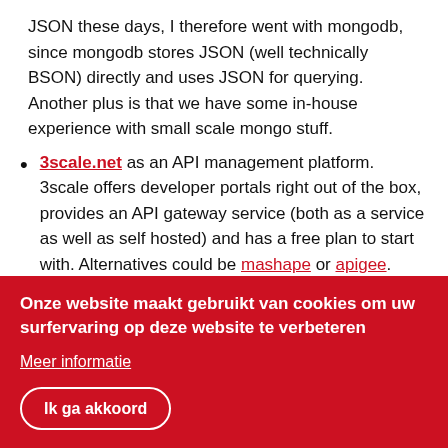JSON these days, I therefore went with mongodb, since mongodb stores JSON (well technically BSON) directly and uses JSON for querying. Another plus is that we have some in-house experience with small scale mongo stuff.
3scale.net as an API management platform. 3scale offers developer portals right out of the box, provides an API gateway service (both as a service as well as self hosted) and has a free plan to start with. Alternatives could be mashape or apigee.
Swagger for documenting the API. hapi has a swagger plugin that generates swagger documentation based upon the source code of the API itself, no extra work for me there (at least, that's the plan).
Onze website maakt gebruikt van cookies om uw surfervaring op deze website te verbeteren
Meer informatie
Ik ga akkoord